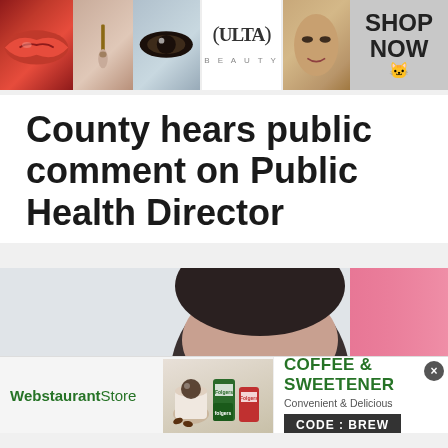[Figure (photo): Ulta Beauty advertisement banner with makeup photos (lips, brush, eyes), Ulta logo, face photo, and SHOP NOW button]
County hears public comment on Public Health Director
[Figure (photo): Partial photo of a person's head with dark hair against a light background with pink curtain on the right]
[Figure (photo): WebstaurantStore advertisement for Coffee & Sweetener with Folgers products and CODE: BREW promotional code]